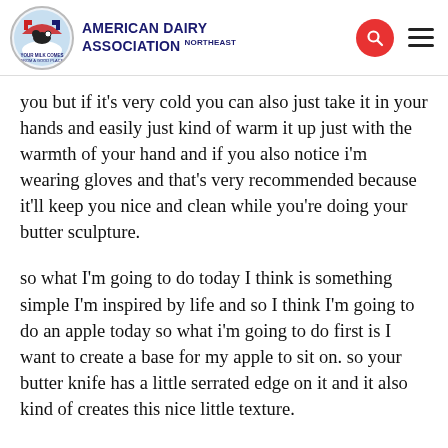AMERICAN DAIRY ASSOCIATION NORTH EAST
you but if it's very cold you can also just take it in your hands and easily just kind of warm it up just with the warmth of your hand and if you also notice i'm wearing gloves and that's very recommended because it'll keep you nice and clean while you're doing your butter sculpture.
so what I'm going to do today I think is something simple I'm inspired by life and so I think I'm going to do an apple today so what i'm going to do first is I want to create a base for my apple to sit on. so your butter knife has a little serrated edge on it and it also kind of creates this nice little texture.
and so what I'm going to do now is since my apple